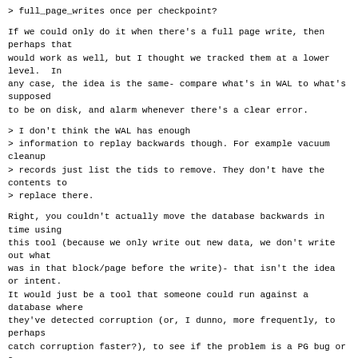> full_page_writes once per checkpoint?
If we could only do it when there's a full page write, then perhaps that
would work as well, but I thought we tracked them at a lower level.  In
any case, the idea is the same- compare what's in WAL to what's supposed
to be on disk, and alarm whenever there's a clear error.
> I don't think the WAL has enough
> information to replay backwards though. For example vacuum cleanup
> records just list the tids to remove. They don't have the contents to
> replace there.
Right, you couldn't actually move the database backwards in time using
this tool (because we only write out new data, we don't write out what
was in that block/page before the write)- that isn't the idea or intent.
It would just be a tool that someone could run against a database where
they've detected corruption (or, I dunno, more frequently, to perhaps
catch corruption faster?), to see if the problem is a PG bug or a
hardware/kernel/etc issue.  In fact, if you could somehow do this
against a backup that's been taken using
pg_start_backup/pg_stop_backup,
that would be pretty awesome.